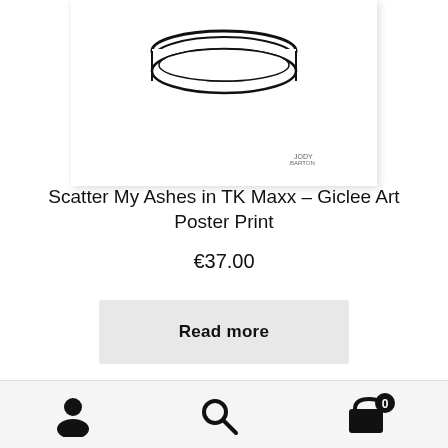[Figure (photo): Partial view of a framed Giclee art poster print showing a black and white illustration in a white frame, cropped at the top]
Scatter My Ashes in TK Maxx – Giclee Art Poster Print
€37.00
Read more
ℹ Welcome to the new Official Jody Barton shop. Free shipping to the UK, EU and USA on most items. Dismiss